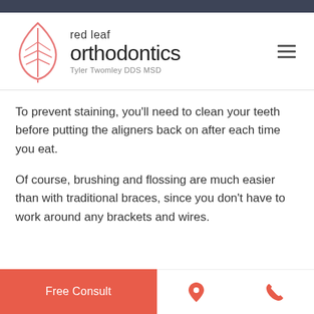[Figure (logo): Red Leaf Orthodontics logo with a red/pink leaf icon and text 'red leaf orthodontics' and 'Tyler Twomley DDS MSD']
To prevent staining, you'll need to clean your teeth before putting the aligners back on after each time you eat.
Of course, brushing and flossing are much easier than with traditional braces, since you don't have to work around any brackets and wires.
Free Consult